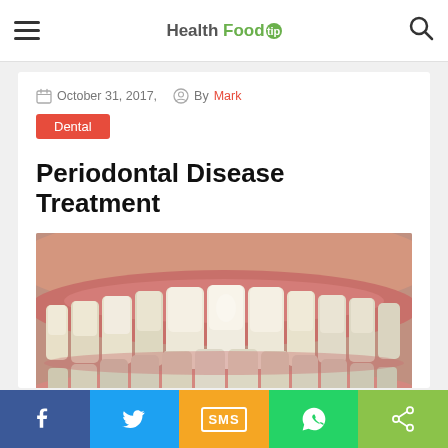Health Food Tip — navigation bar with hamburger menu and search icon
October 31, 2017,   By Mark
Dental
Periodontal Disease Treatment
[Figure (photo): Close-up photograph of human teeth and gums showing exposed tooth roots, characteristic of periodontal disease]